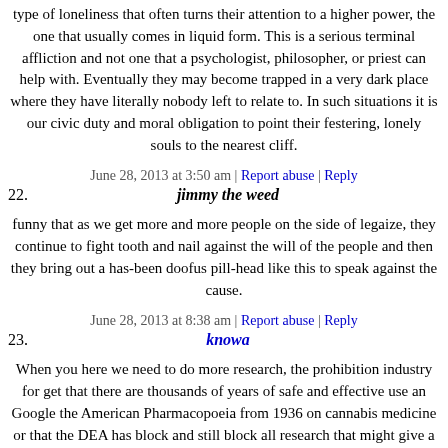type of loneliness that often turns their attention to a higher power, the one that usually comes in liquid form. This is a serious terminal affliction and not one that a psychologist, philosopher, or priest can help with. Eventually they may become trapped in a very dark place where they have literally nobody left to relate to. In such situations it is our civic duty and moral obligation to point their festering, lonely souls to the nearest cliff.
June 28, 2013 at 3:50 am | Report abuse | Reply
22.
jimmy the weed
funny that as we get more and more people on the side of legaize, they continue to fight tooth and nail against the will of the people and then they bring out a has-been doofus pill-head like this to speak against the cause.
June 28, 2013 at 8:38 am | Report abuse | Reply
23.
knowa
When you here we need to do more research, the prohibition industry for get that there are thousands of years of safe and effective use an Google the American Pharmacopoeia from 1936 on cannabis medicine or that the DEA has block and still block all research that might give a positive spin and they have the audacity to own several US patents on it...